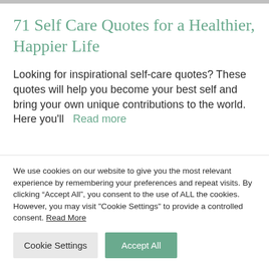71 Self Care Quotes for a Healthier, Happier Life
Looking for inspirational self-care quotes? These quotes will help you become your best self and bring your own unique contributions to the world. Here you'll   Read more
We use cookies on our website to give you the most relevant experience by remembering your preferences and repeat visits. By clicking “Accept All”, you consent to the use of ALL the cookies. However, you may visit "Cookie Settings" to provide a controlled consent. Read More
Cookie Settings   Accept All